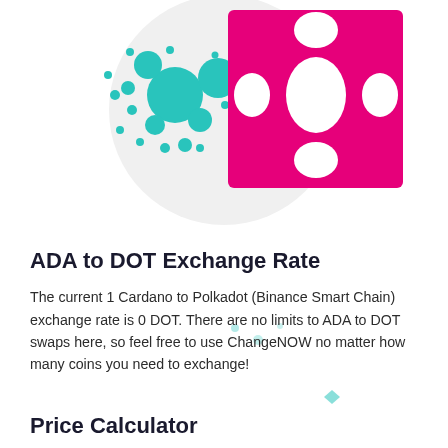[Figure (illustration): Two cryptocurrency logos side by side on a white/light gray circular background: Cardano (ADA) logo on the left with teal/cyan dots and circles pattern, and Polkadot (DOT) logo on the right with a pink/magenta square background and white oval dots pattern.]
ADA to DOT Exchange Rate
The current 1 Cardano to Polkadot (Binance Smart Chain) exchange rate is 0 DOT. There are no limits to ADA to DOT swaps here, so feel free to use ChangeNOW no matter how many coins you need to exchange!
Price Calculator
Before swapping coins, feel free to use our Cardano to Polkadot (Binance Smart Chain) calculator to see how many